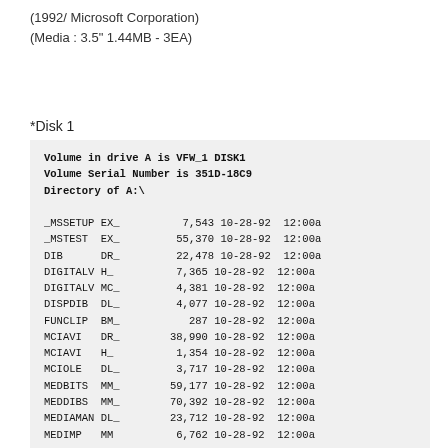(1992/ Microsoft Corporation)
(Media : 3.5" 1.44MB - 3EA)
*Disk 1
| Name | Ext | Size | Date | Time |
| --- | --- | --- | --- | --- |
| Volume in drive A is VFW_1 DISK1 |  |  |  |  |
| Volume Serial Number is 351D-18C9 |  |  |  |  |
| Directory of A:\ |  |  |  |  |
| _MSSETUP | EX_ | 7,543 | 10-28-92 | 12:00a |
| _MSTEST | EX_ | 55,370 | 10-28-92 | 12:00a |
| DIB | DR_ | 22,478 | 10-28-92 | 12:00a |
| DIGITALV | H_ | 7,365 | 10-28-92 | 12:00a |
| DIGITALV | MC_ | 4,381 | 10-28-92 | 12:00a |
| DISPDIB | DL_ | 4,077 | 10-28-92 | 12:00a |
| FUNCLIP | BM_ | 287 | 10-28-92 | 12:00a |
| MCIAVI | DR_ | 38,990 | 10-28-92 | 12:00a |
| MCIAVI | H_ | 1,354 | 10-28-92 | 12:00a |
| MCIOLE | DL_ | 3,717 | 10-28-92 | 12:00a |
| MEDBITS | MM_ | 59,177 | 10-28-92 | 12:00a |
| MEDDIBS | MM_ | 70,392 | 10-28-92 | 12:00a |
| MEDIAMAN | DL_ | 23,712 | 10-28-92 | 12:00a |
| MEDIMP | MM | 6,762 | 10-28-92 | 12:00a |